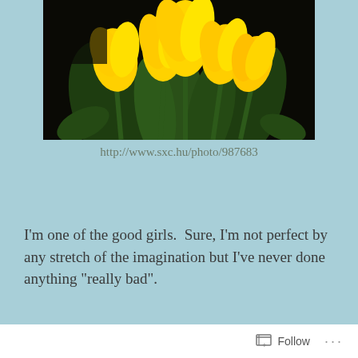[Figure (photo): Photograph of yellow tulips against a dark background]
http://www.sxc.hu/photo/987683
I’m one of the good girls.  Sure, I’m not perfect by any stretch of the imagination but I’ve never done anything “really bad”.
I grew up in a good home, went to Christian schools
Follow ...